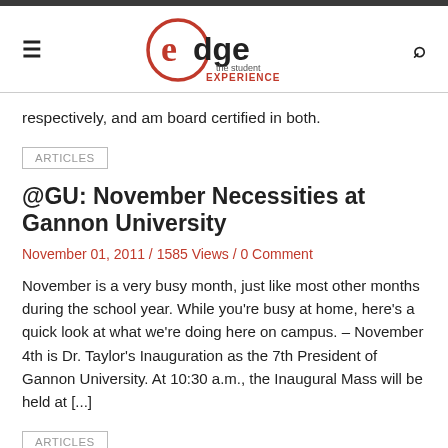[Figure (logo): Edge the student experience logo - circular 'e' in red with 'dge' in black and 'the student EXPERIENCE' tagline in red]
respectively, and am board certified in both.
ARTICLES
@GU: November Necessities at Gannon University
November 01, 2011 / 1585 Views / 0 Comment
November is a very busy month, just like most other months during the school year. While you're busy at home, here's a quick look at what we're doing here on campus. – November 4th is Dr. Taylor's Inauguration as the 7th President of Gannon University. At 10:30 a.m., the Inaugural Mass will be held at [...]
ARTICLES